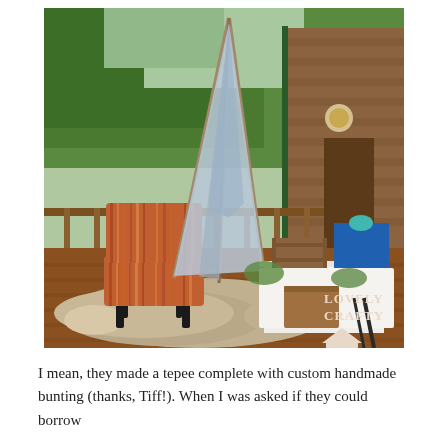[Figure (photo): Outdoor deck scene at a log cabin. A striped upholstered slipper chair sits on a faux animal-skin rug on a wood deck. Behind it stands a fabric tepee/teepee with light blue fabric. To the right is a table with a white tablecloth, a wood crate, a blue gift bag with teal ribbon, and a small wooden card box. Green trees and the log cabin exterior are visible in the background. A watermark reads 'Lovely Crafty' with a house icon in the lower right of the photo.]
I mean, they made a tepee complete with custom handmade bunting (thanks, Tiff!). When I was asked if they could borrow